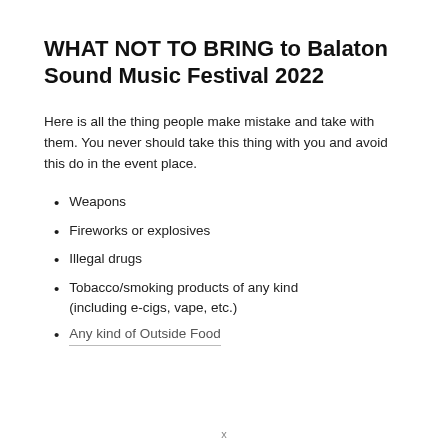WHAT NOT TO BRING to Balaton Sound Music Festival 2022
Here is all the thing people make mistake and take with them. You never should take this thing with you and avoid this do in the event place.
Weapons
Fireworks or explosives
Illegal drugs
Tobacco/smoking products of any kind (including e-cigs, vape, etc.)
Any kind of Outside Food